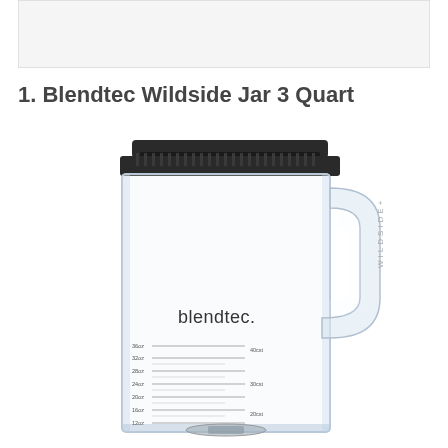[Figure (photo): Partial top of a previous product image, white/light gray background, cut off at bottom]
1. Blendtec Wildside Jar 3 Quart
[Figure (photo): Blendtec Wildside+ blender jar (3 quart), clear transparent plastic jar with black lid, handle on the right side, measurement markings on the side (13oz to 36oz and 20cst to 40cst), blendtec logo and WILDSIDE+ text visible]